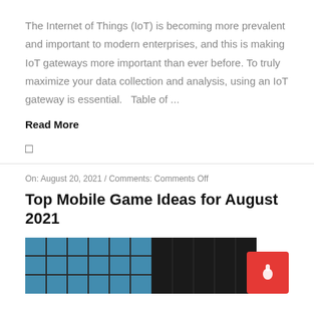The Internet of Things (IoT) is becoming more prevalent and important to modern enterprises, and this is making IoT gateways more important than ever before. To truly maximize your data collection and analysis, using an IoT gateway is essential.   Table of ...
Read More
□
On: August 20, 2021 / Comments: Comments Off
Top Mobile Game Ideas for August 2021
[Figure (photo): Partial view of a building with blue and dark glass panels, article thumbnail image]